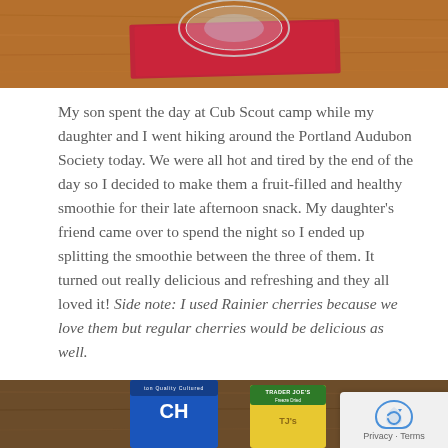[Figure (photo): Top portion of a food blog photo showing a glass on a red napkin on a wooden surface]
My son spent the day at Cub Scout camp while my daughter and I went hiking around the Portland Audubon Society today.  We were all hot and tired by the end of the day so I decided to make them a fruit-filled and healthy smoothie for their late afternoon snack.  My daughter's friend came over to spend the night so I ended up splitting the smoothie between the three of them.  It turned out really delicious and refreshing and they all loved it!  Side note: I used Rainier cherries because we love them but regular cherries would be delicious as well.
[Figure (photo): Bottom portion showing yogurt container and Trader Joe's bag on a wooden surface]